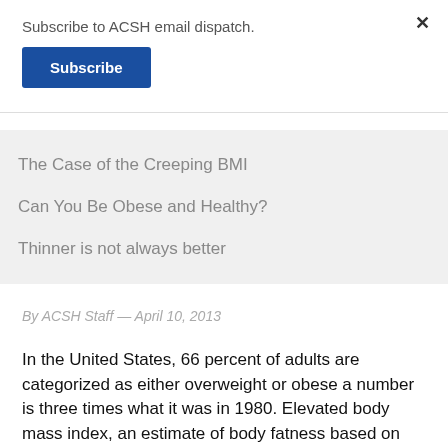Subscribe to ACSH email dispatch.
Subscribe
×
The Case of the Creeping BMI
Can You Be Obese and Healthy?
Thinner is not always better
By ACSH Staff — April 10, 2013
In the United States, 66 percent of adults are categorized as either overweight or obese a number is three times what it was in 1980. Elevated body mass index, an estimate of body fatness based on height and weight, has long been considered a risk factor for